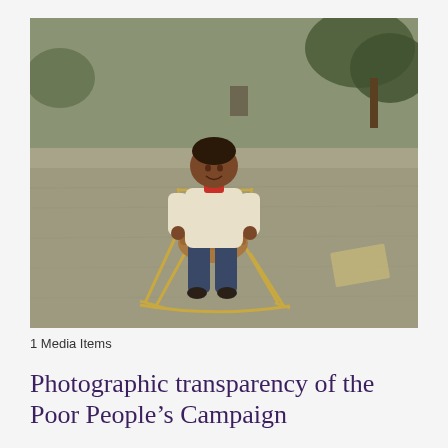[Figure (photo): Vintage photograph of a young child sitting on a metal spring rocking horse toy on a grassy lawn. The child wears a cream-colored long-sleeve shirt and jeans. Trees are visible in the background. The photo has a warm, faded vintage color tone.]
1 Media Items
Photographic transparency of the Poor People’s Campaign